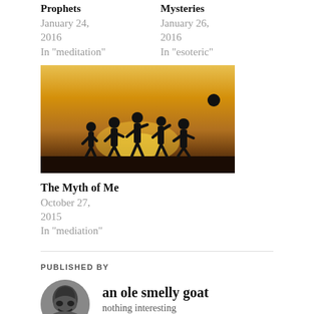Prophets
January 24, 2016
In "meditation"
Mysteries
January 26, 2016
In "esoteric"
[Figure (photo): Silhouette of children playing with a ball against a golden sunset sky]
The Myth of Me
October 27, 2015
In "mediation"
PUBLISHED BY
[Figure (photo): Circular avatar of an ole smelly goat - dark grayscale animal image]
an ole smelly goat
nothing interesting
View all posts by an ole smelly goat -